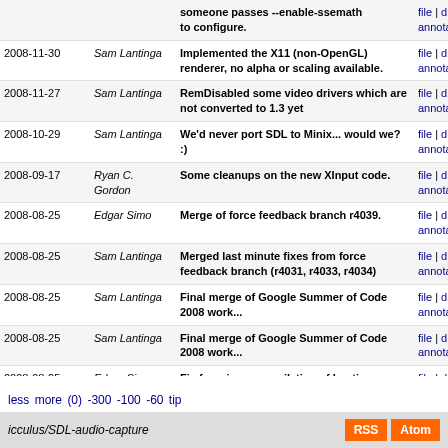| Date | Author | Message | Links |
| --- | --- | --- | --- |
|  |  | someone passes --enable-ssemath to configure. | file | diff | annotate |
| 2008-11-30 | Sam Lantinga | Implemented the X11 (non-OpenGL) renderer, no alpha or scaling available. | file | diff | annotate |
| 2008-11-27 | Sam Lantinga | RemDisabled some video drivers which are not converted to 1.3 yet | file | diff | annotate |
| 2008-10-29 | Sam Lantinga | We'd never port SDL to Minix... would we? :) | file | diff | annotate |
| 2008-09-17 | Ryan C. Gordon | Some cleanups on the new XInput code. | file | diff | annotate |
| 2008-08-25 | Edgar Simo | Merge of force feedback branch r4039. | file | diff | annotate |
| 2008-08-25 | Sam Lantinga | Merged last minute fixes from force feedback branch (r4031, r4033, r4034) | file | diff | annotate |
| 2008-08-25 | Sam Lantinga | Final merge of Google Summer of Code 2008 work... | file | diff | annotate |
| 2008-08-25 | Sam Lantinga | Final merge of Google Summer of Code 2008 work... | file | diff | annotate |
| 2008-08-25 | Edgar Simo | Fix for mingw compilation of haptic subsystem by Alam. [gsoc2008_force_feedback] | file | diff | annotate |
less more (0) -300 -100 -60 tip
icculus/SDL-audio-capture    RSS  Atom